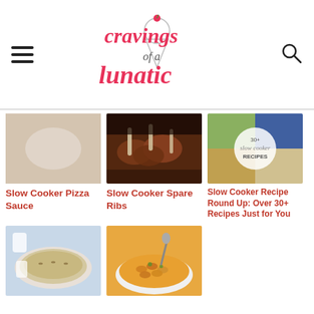Cravings of a Lunatic
[Figure (photo): Food blog post image for Slow Cooker Pizza Sauce]
Slow Cooker Pizza Sauce
[Figure (photo): Food blog post image for Slow Cooker Spare Ribs]
Slow Cooker Spare Ribs
[Figure (photo): Collage image for Slow Cooker Recipe Round Up: Over 30+ Recipes Just for You]
Slow Cooker Recipe Round Up: Over 30+ Recipes Just for You
[Figure (photo): Food blog post image for a slow cooker baked dish]
[Figure (photo): Food blog post image for slow cooker mac and cheese or pasta dish]